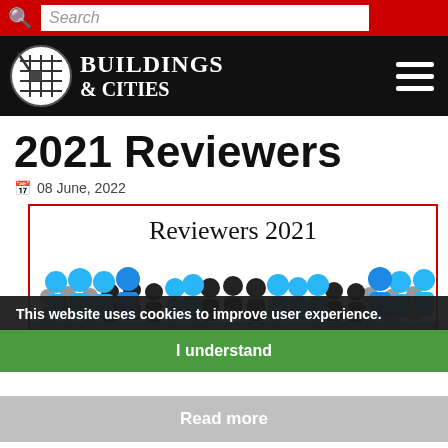Search
[Figure (logo): Buildings & Cities website header with logo circle and hamburger menu]
2021 Reviewers
08 June, 2022
[Figure (illustration): Reviewers 2021 image showing crowd of people icons in blue, black, grey, and teal colors with text 'Reviewers 2021' at top]
This website uses cookies to improve user experience.
I understand
Read more